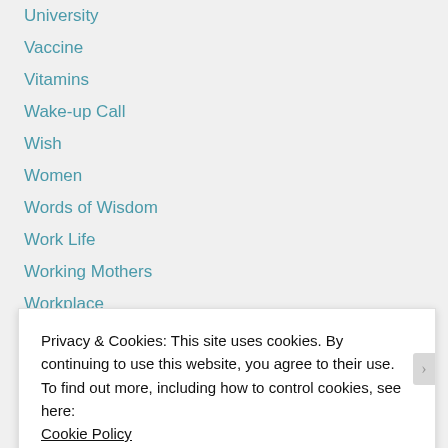University
Vaccine
Vitamins
Wake-up Call
Wish
Women
Words of Wisdom
Work Life
Working Mothers
Workplace
Writing
Year-End
[Figure (other): Advertisements gradient bar (blue to purple)]
Privacy & Cookies: This site uses cookies. By continuing to use this website, you agree to their use.
To find out more, including how to control cookies, see here:
Cookie Policy
Close and accept